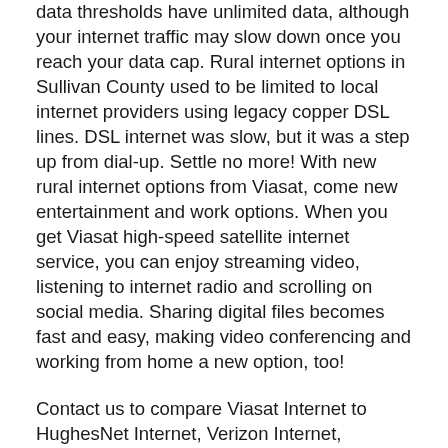data thresholds have unlimited data, although your internet traffic may slow down once you reach your data cap. Rural internet options in Sullivan County used to be limited to local internet providers using legacy copper DSL lines. DSL internet was slow, but it was a step up from dial-up. Settle no more! With new rural internet options from Viasat, come new entertainment and work options. When you get Viasat high-speed satellite internet service, you can enjoy streaming video, listening to internet radio and scrolling on social media. Sharing digital files becomes fast and easy, making video conferencing and working from home a new option, too!
Contact us to compare Viasat Internet to HughesNet Internet, Verizon Internet, CenturyLink Internet, AT&T Wireless, Sprint, XFINITY, Comcast Internet, Charter Spectrum Internet, Frontier Internet, Cox Internet, MegaPath, Windstream Internet, Wow Internet, Wave, Cable One Internet, Suddenlink Internet, Mediacom Internet, T-Mobile, DIRECTV Satellite Internet, Dish